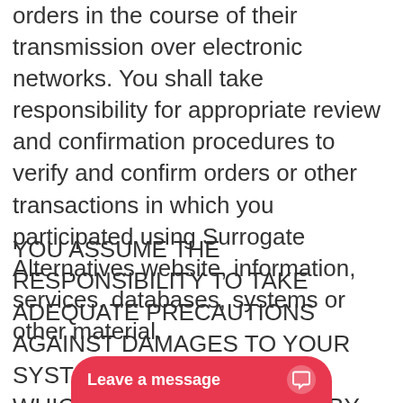orders in the course of their transmission over electronic networks. You shall take responsibility for appropriate review and confirmation procedures to verify and confirm orders or other transactions in which you participated using Surrogate Alternatives website, information, services, databases, systems or other material.
YOU ASSUME THE RESPONSIBILITY TO TAKE ADEQUATE PRECAUTIONS AGAINST DAMAGES TO YOUR SYSTEMS OR OPERATIONS WHICH COULD BE CAUSED BY DEFECTS OR DEFICIENCIES IN THIS WEBSITE. ANY Surrogate Alternatives INFORMATION, SERVICE, SYSTEM, DATABASE OR MATERIAL, OR PART THEREOF YOU ALSO ACKNOWLEDGE TH...
[Figure (other): Chat widget bar at the bottom reading 'Leave a message' with a chat bubble icon, pink/red background]